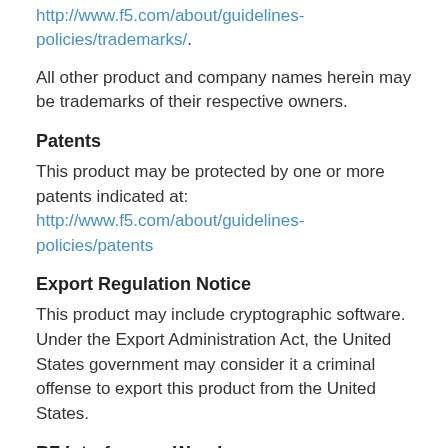http://www.f5.com/about/guidelines-policies/trademarks/.
All other product and company names herein may be trademarks of their respective owners.
Patents
This product may be protected by one or more patents indicated at: http://www.f5.com/about/guidelines-policies/patents
Export Regulation Notice
This product may include cryptographic software. Under the Export Administration Act, the United States government may consider it a criminal offense to export this product from the United States.
RF Interference Warning
This is a Class A product. In a domestic environment this product may cause radio interference, in which case the user may be required to take adequate measures.
FCC Compliance